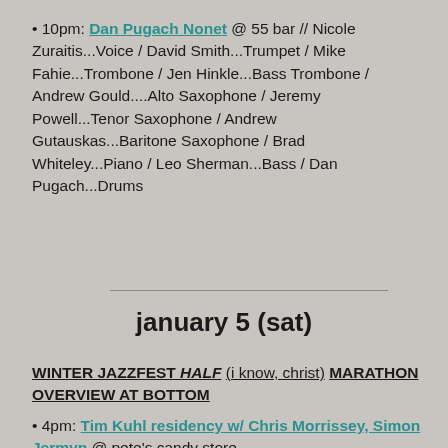• 10pm: Dan Pugach Nonet @ 55 bar // Nicole Zuraitis...Voice / David Smith...Trumpet / Mike Fahie...Trombone / Jen Hinkle...Bass Trombone / Andrew Gould....Alto Saxophone / Jeremy Powell...Tenor Saxophone / Andrew Gutauskas...Baritone Saxophone / Brad Whiteley...Piano / Leo Sherman...Bass / Dan Pugach...Drums
january 5 (sat)
WINTER JAZZFEST HALF (i know, christ) MARATHON OVERVIEW AT BOTTOM
• 4pm: Tim Kuhl residency w/ Chris Morrissey, Simon Jermyn @ pete's candy store